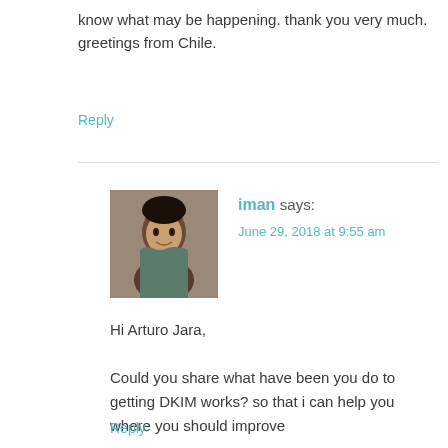know what may be happening. thank you very much. greetings from Chile.
Reply
[Figure (photo): Avatar photo of commenter iman, a young man in a patterned shirt]
iman says:
June 29, 2018 at 9:55 am
Hi Arturo Jara,

Could you share what have been you do to getting DKIM works? so that i can help you where you should improve
Reply